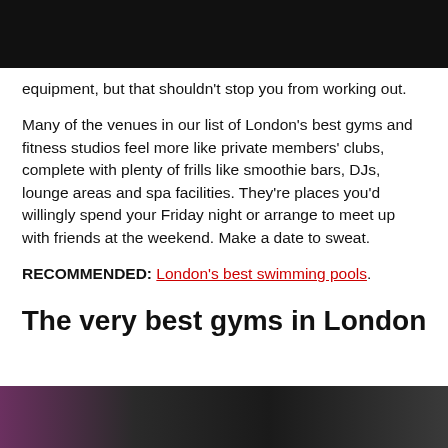[Figure (photo): Dark/black banner image at top of page]
equipment, but that shouldn't stop you from working out.
Many of the venues in our list of London's best gyms and fitness studios feel more like private members' clubs, complete with plenty of frills like smoothie bars, DJs, lounge areas and spa facilities. They're places you'd willingly spend your Friday night or arrange to meet up with friends at the weekend. Make a date to sweat.
RECOMMENDED: London's best swimming pools.
The very best gyms in London
[Figure (photo): Dark photo strip at the bottom of the page showing gym interior]